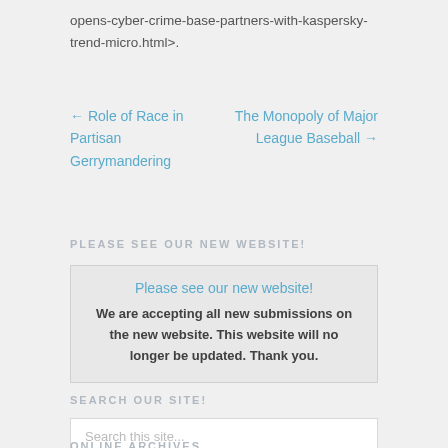opens-cyber-crime-base-partners-with-kaspersky-trend-micro.html>.
← Role of Race in Partisan Gerrymandering
The Monopoly of Major League Baseball →
PLEASE SEE OUR NEW WEBSITE!
Please see our new website!
We are accepting all new submissions on the new website. This website will no longer be updated. Thank you.
SEARCH OUR SITE!
Search this site...
ONLINE ARCHIVES